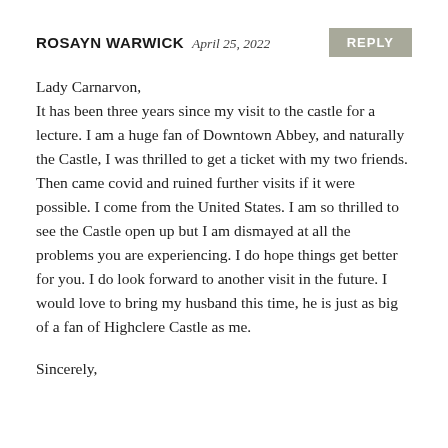ROSAYN WARWICK  April 25, 2022
Lady Carnarvon,
It has been three years since my visit to the castle for a lecture. I am a huge fan of Downtown Abbey, and naturally the Castle, I was thrilled to get a ticket with my two friends. Then came covid and ruined further visits if it were possible. I come from the United States. I am so thrilled to see the Castle open up but I am dismayed at all the problems you are experiencing. I do hope things get better for you. I do look forward to another visit in the future. I would love to bring my husband this time, he is just as big of a fan of Highclere Castle as me.
Sincerely,